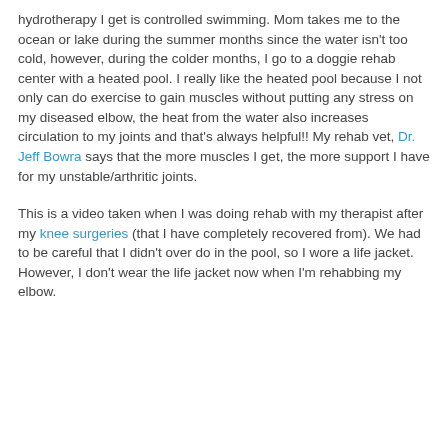hydrotherapy I get is controlled swimming. Mom takes me to the ocean or lake during the summer months since the water isn't too cold, however, during the colder months, I go to a doggie rehab center with a heated pool. I really like the heated pool because I not only can do exercise to gain muscles without putting any stress on my diseased elbow, the heat from the water also increases circulation to my joints and that's always helpful!! My rehab vet, Dr. Jeff Bowra says that the more muscles I get, the more support I have for my unstable/arthritic joints.
This is a video taken when I was doing rehab with my therapist after my knee surgeries (that I have completely recovered from). We had to be careful that I didn't over do in the pool, so I wore a life jacket. However, I don't wear the life jacket now when I'm rehabbing my elbow.